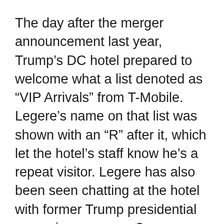The day after the merger announcement last year, Trump’s DC hotel prepared to welcome what a list denoted as “VIP Arrivals” from T-Mobile. Legere’s name on that list was shown with an “R” after it, which let the hotel’s staff know he’s a repeat visitor. Legere has also been seen chatting at the hotel with former Trump presidential campaign manager Corey Lewandowski.
After the Post cornered him last week in the lobby, Legere apparently quickly checked out and shifted to a different DC property. His